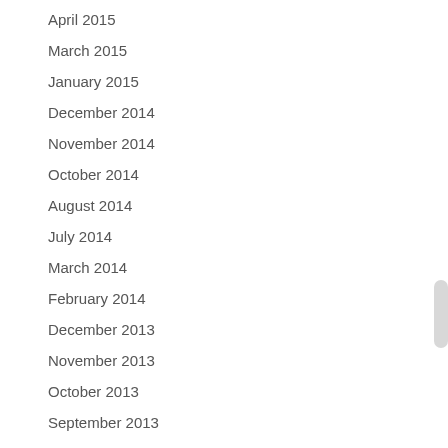April 2015
March 2015
January 2015
December 2014
November 2014
October 2014
August 2014
July 2014
March 2014
February 2014
December 2013
November 2013
October 2013
September 2013
August 2013